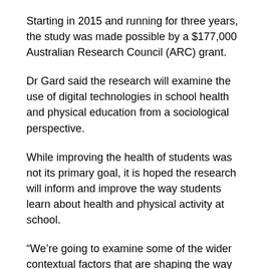Starting in 2015 and running for three years, the study was made possible by a $177,000 Australian Research Council (ARC) grant.
Dr Gard said the research will examine the use of digital technologies in school health and physical education from a sociological perspective.
While improving the health of students was not its primary goal, it is hoped the research will inform and improve the way students learn about health and physical activity at school.
“We’re going to examine some of the wider contextual factors that are shaping the way digital technology is being used in schools,” he said.
“There has been research done on the application of digital